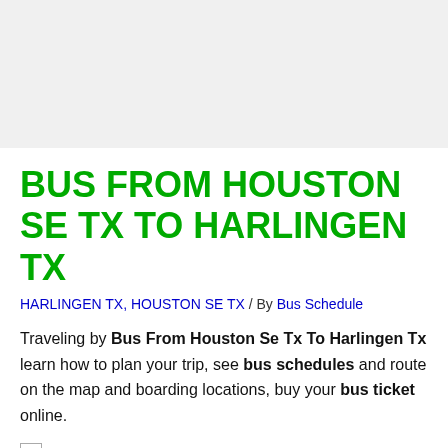BUS FROM HOUSTON SE TX TO HARLINGEN TX
HARLINGEN TX, HOUSTON SE TX / By Bus Schedule
Traveling by Bus From Houston Se Tx To Harlingen Tx learn how to plan your trip, see bus schedules and route on the map and boarding locations, buy your bus ticket online.
[Figure (photo): Broken image placeholder for Bus From Houston Se Tx To Harlingen Tx]
Everyone who wants to go on a trip expects the trip to be fast